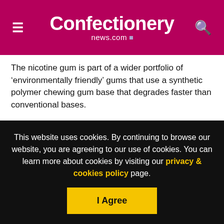Confectionery news.com
The nicotine gum is part of a wider portfolio of ‘environmentally friendly’ gums that use a synthetic polymer chewing gum base that degrades faster than conventional bases.
Revolymer claims its nicotine gum has improved texture, flavour and chew compared to its competitors.
It said the use of its polymer technology improves the rate and amount of nicotine released while also masking the bitter
This website uses cookies. By continuing to browse our website, you are agreeing to our use of cookies. You can learn more about cookies by visiting our privacy & cookies policy page.
I Agree